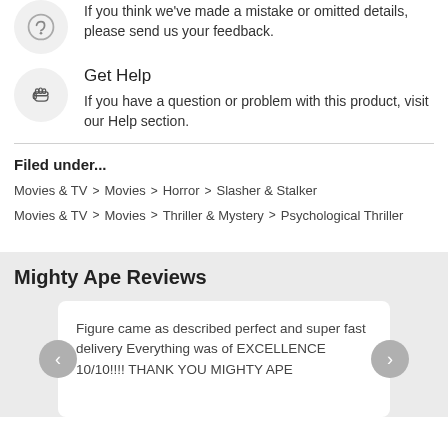If you think we've made a mistake or omitted details, please send us your feedback.
Get Help
If you have a question or problem with this product, visit our Help section.
Filed under...
Movies & TV > Movies > Horror > Slasher & Stalker
Movies & TV > Movies > Thriller & Mystery > Psychological Thriller
Mighty Ape Reviews
Figure came as described perfect and super fast delivery Everything was of EXCELLENCE 10/10!!!! THANK YOU MIGHTY APE